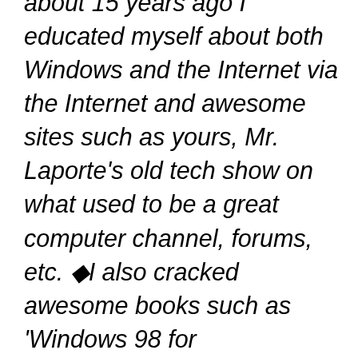about 15 years ago I educated myself about both Windows and the Internet via the Internet and awesome sites such as yours, Mr. Laporte's old tech show on what used to be a great computer channel, forums, etc. �I also cracked awesome books such as 'Windows 98 for Dummies'/'Find Gold in Vista' by the great Mr. Dan Gookin (who DOES answer an email if you need him!).